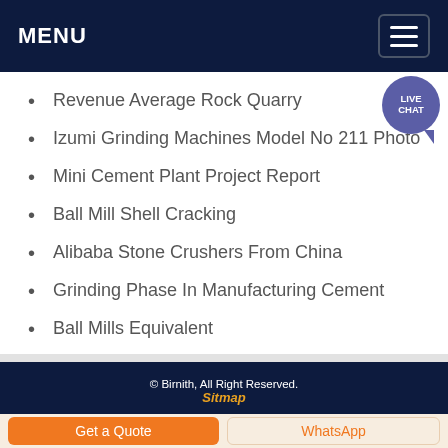MENU
Revenue Average Rock Quarry
Izumi Grinding Machines Model No 211 Photo
Mini Cement Plant Project Report
Ball Mill Shell Cracking
Alibaba Stone Crushers From China
Grinding Phase In Manufacturing Cement
Ball Mills Equivalent
© Birnith, All Right Reserved. Sitmap
Get a Quote
WhatsApp